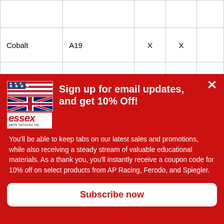|  |  |  |  |  |
| Cobalt | A19 | X | X |  |
|  | (DP2006 |  |  |  |
[Figure (screenshot): Red popup overlay for Essex Parts Services Inc. Email signup promotion. Contains Essex logo (US and UK flags with brand name), headline 'Sign up for email updates, and get 10% Off!', body text about sales, promotions, and 10% off coupon for AP Racing, Ferodo, and Spiegler products, and a 'Subscribe now' button.]